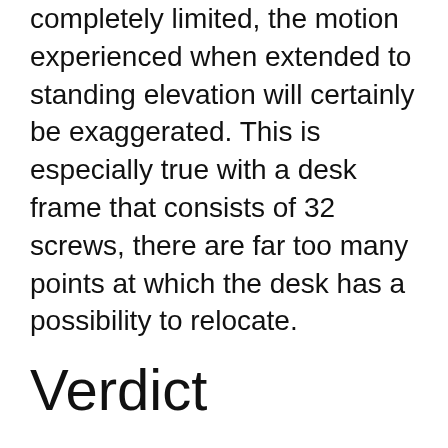completely limited, the motion experienced when extended to standing elevation will certainly be exaggerated. This is especially true with a desk frame that consists of 32 screws, there are far too many points at which the desk has a possibility to relocate.
Verdict
Like all the Chinese bases we have actually tested in our labs, we have to narrow our recommendation on the StandDesk Pro to much shorter individuals with narrower desktop computers, as the stability just isn't there for a large mass raised high off the ground. American-made workdesks will certainly be much better fit to these applications, and for a fairly apparent